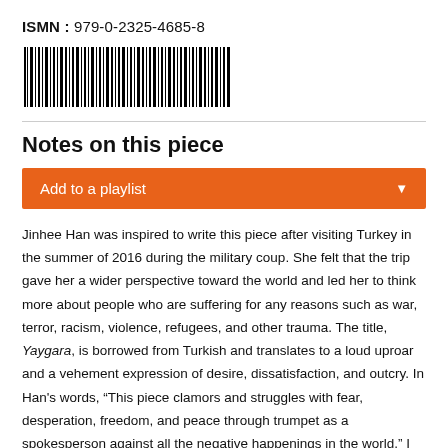ISMN : 979-0-2325-4685-8
[Figure (other): Barcode for ISMN 979-0-2325-4685-8]
Notes on this piece
Add to a playlist
Jinhee Han was inspired to write this piece after visiting Turkey in the summer of 2016 during the military coup. She felt that the trip gave her a wider perspective toward the world and led her to think more about people who are suffering for any reasons such as war, terror, racism, violence, refugees, and other trauma. The title, Yaygara, is borrowed from Turkish and translates to a loud uproar and a vehement expression of desire, dissatisfaction, and outcry. In Han's words, “This piece clamors and struggles with fear, desperation, freedom, and peace through trumpet as a spokesperson against all the negative happenings in the world.” I originally met Jinhee through trombonist Jacob Elkin when she wrote a duo piece called To My Daughter, influenced by a rarely discussed part of history: the Japanese comfort women. When I first spoke with her about